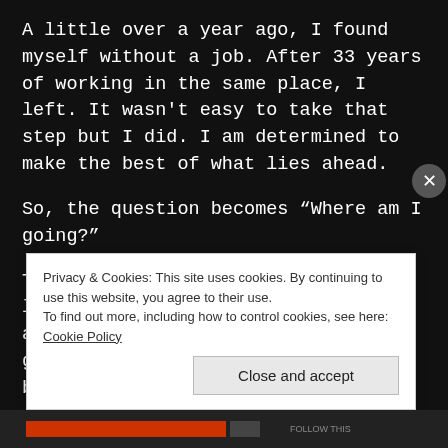A little over a year ago, I found myself without a job.  After 33 years of working in the same place, I left.  It wasn't easy to take that step but I did.  I am determined to make the best of what lies ahead.
So, the question becomes “Where am I going?”
There are so many things I would like to do and know I’d be good at and enjoy doing.    One of the greatest joys in all of this  has been to believe I have options and opportunities again.
Privacy & Cookies: This site uses cookies. By continuing to use this website, you agree to their use.
To find out more, including how to control cookies, see here: Cookie Policy
Close and accept